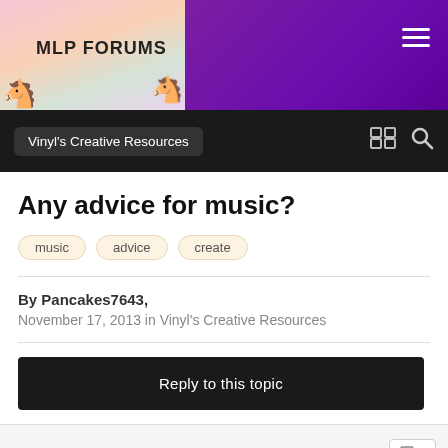MLP FORUMS
Vinyl's Creative Resources
Any advice for music?
music
advice
create
By Pancakes7643,
November 17, 2013 in Vinyl's Creative Resources
Reply to this topic
Pancakes7643